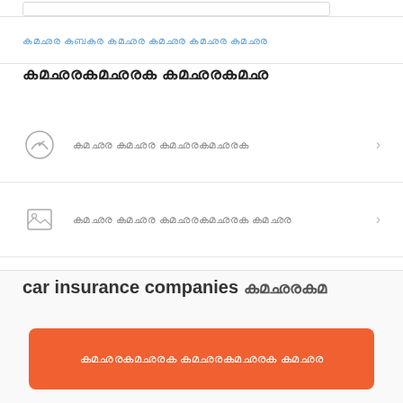[top input boxes area]
[blue link text in Malayalam/placeholder characters]
[Section header in Malayalam/placeholder characters]
[List item 1 in Malayalam/placeholder characters]
[List item 2 in Malayalam/placeholder characters]
[List item 3 in Malayalam/placeholder characters]
car insurance companies [placeholder characters]
[Orange button text in Malayalam/placeholder characters]